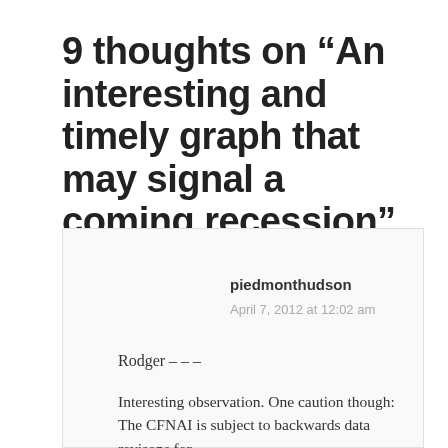9 thoughts on “An interesting and timely graph that may signal a coming recession”
piedmonthudson
April 7, 2012 at 12:02 am
Rodger – – –
Interesting observation. One caution though: The CFNAI is subject to backwards data revisons for